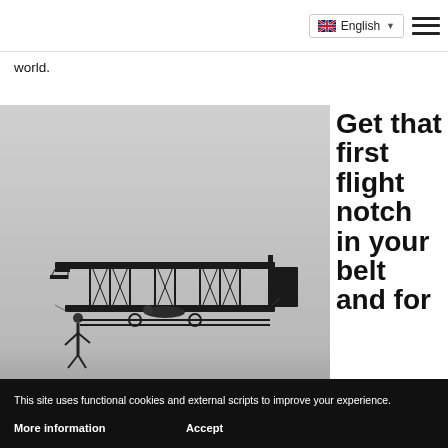English
world.
[Figure (photo): Black and white photograph of a Wright Brothers biplane (Wright Flyer) in flight, viewed from the side. The aircraft shows the characteristic double-wing design with struts, a pilot lying prone, and the ground visible below.]
Get that first flight notch in your belt and for
This site uses functional cookies and external scripts to improve your experience.
More information    Accept